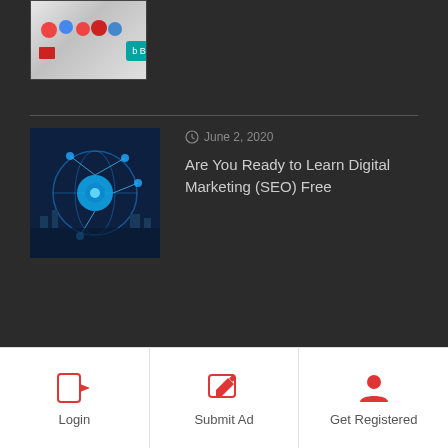[Figure (screenshot): Thumbnail image at top showing colorful logo icons and Bing button]
June 2, 2020
Are You Ready to Learn Digital Marketing (SEO) Free
[Figure (photo): Blue glowing globe with network connections over city background]
RO water Purifier
[Figure (other): Scroll to top button with double chevron up arrow]
Login | Submit Ad | Get Registered